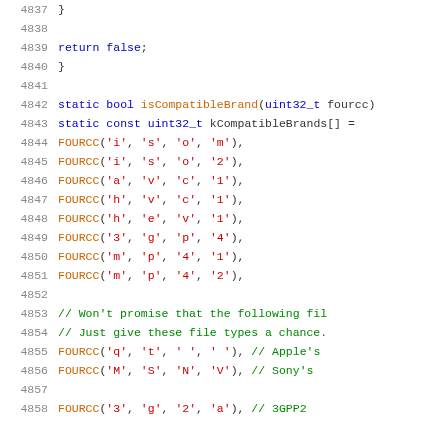Source code listing, lines 4837-4858, showing isCompatibleBrand function with FOURCC entries